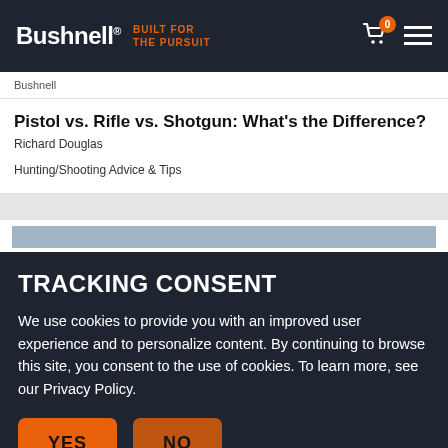Bushnell — BUILT FOR THE PURSUIT
Bushnell
Pistol vs. Rifle vs. Shotgun: What's the Difference?
Richard Douglas
Hunting/Shooting Advice & Tips
TRACKING CONSENT
We use cookies to provide you with an improved user experience and to personalize content. By continuing to browse this site, you consent to the use of cookies. To learn more, see our Privacy Policy.
YES   NO